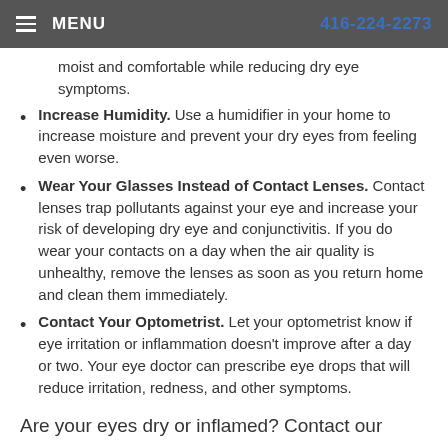MENU   416-224-2273
moist and comfortable while reducing dry eye symptoms.
Increase Humidity. Use a humidifier in your home to increase moisture and prevent your dry eyes from feeling even worse.
Wear Your Glasses Instead of Contact Lenses. Contact lenses trap pollutants against your eye and increase your risk of developing dry eye and conjunctivitis. If you do wear your contacts on a day when the air quality is unhealthy, remove the lenses as soon as you return home and clean them immediately.
Contact Your Optometrist. Let your optometrist know if eye irritation or inflammation doesn't improve after a day or two. Your eye doctor can prescribe eye drops that will reduce irritation, redness, and other symptoms.
Are your eyes dry or inflamed? Contact our office to schedule an appointment.